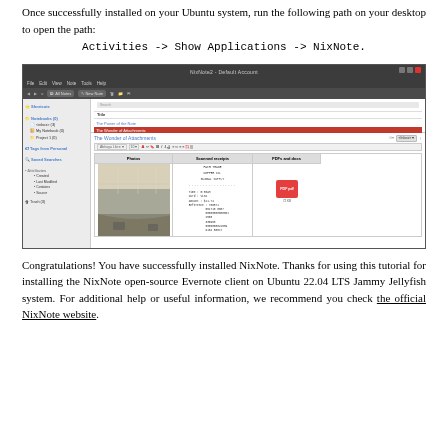Once successfully installed on your Ubuntu system, run the following path on your desktop to open the path: Activities -> Show Applications -> NixNote.
[Figure (screenshot): Screenshot of NixNote2 application showing the main window with sidebar (Shortcuts, Notebooks, Tags from Personal, Saved Searches, Attributes, Trash), a note list with 'The Power of the Note', 'The Wonder of Attachments' (selected), 'The Joy of Web Clipping', and the note editor showing a table with Photos, Scanned receipts, and PDFs and docs columns containing a photo, a Fair Trade Coffee Co. receipt, and a PDF icon.]
Congratulations! You have successfully installed NixNote. Thanks for using this tutorial for installing the NixNote open-source Evernote client on Ubuntu 22.04 LTS Jammy Jellyfish system. For additional help or useful information, we recommend you check the official NixNote website.